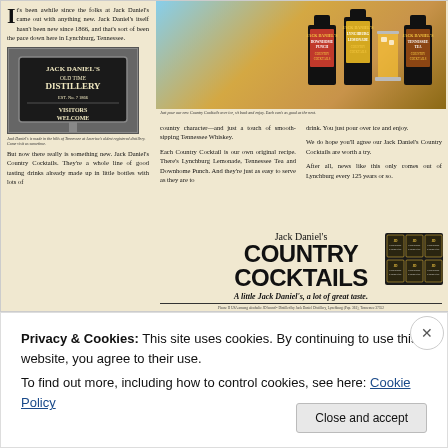[Figure (photo): Jack Daniel's Country Cocktails advertisement showing bottles and a glass of orange drink on a wood surface with blue sky background]
It's been awhile since the folks at Jack Daniel's came out with anything new. Jack Daniel's itself hasn't been new since 1866, and that's sort of been the pace down here in Lynchburg, Tennessee.
[Figure (photo): Black and white photo of Jack Daniel's Old Time Distillery sign reading VISITORS WELCOME]
Jack Daniel's is made in the hills of Tennessee at America's oldest registered distillery. Come visit us sometime.
But now there really is something new. Jack Daniel's Country Cocktails. They're a whole line of good tasting drinks already made up in little bottles with lots of
country character—and just a touch of smooth-sipping Tennessee Whiskey.
Each Country Cocktail is our own original recipe. There's Lynchburg Lemonade, Tennessee Tea and Downhome Punch. And they're just as easy to serve as they are to
drink. You just pour over ice and enjoy.
We do hope you'll agree our Jack Daniel's Country Cocktails are worth a try.
After all, news like this only comes out of Lynchburg every 125 years or so.
Jack Daniel's COUNTRY COCKTAILS
A little Jack Daniel's, a lot of great taste.
[Figure (photo): Six-pack of Jack Daniel's Country Cocktails bottles in a black carrier]
Privacy & Cookies: This site uses cookies. By continuing to use this website, you agree to their use.
To find out more, including how to control cookies, see here: Cookie Policy
Close and accept